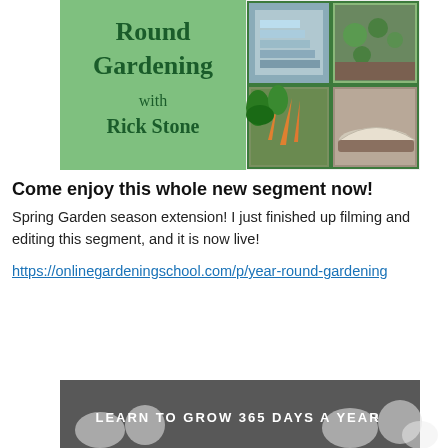[Figure (photo): Year Round Gardening with Rick Stone book/course cover image with green panel on left showing title and photos of vegetables, carrots, greens, raised garden beds on right]
Come enjoy this whole new segment now! Spring Garden season extension! I just finished up filming and editing this segment, and it is now live!
https://onlinegardeningschool.com/p/year-round-gardening
[Figure (photo): Banner image showing snowy garden with text LEARN TO GROW 365 DAYS A YEAR with arrow]